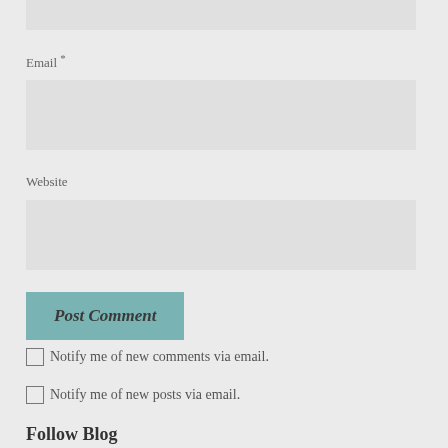Email *
[Figure (other): Email input text box (empty, light gray background)]
Website
[Figure (other): Website input text box (empty, light gray background)]
Post Comment
Notify me of new comments via email.
Notify me of new posts via email.
Follow Blog